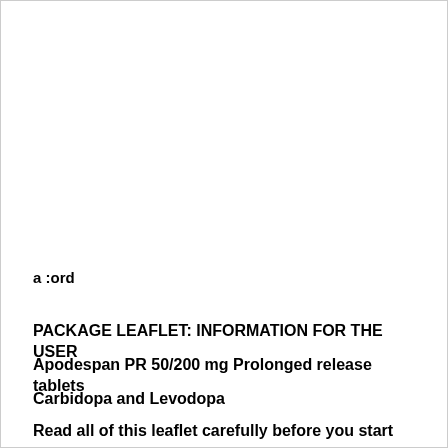a :ord
PACKAGE LEAFLET: INFORMATION FOR THE USER
Apodespan PR 50/200 mg Prolonged release tablets
Carbidopa and Levodopa
Read all of this leaflet carefully before you start